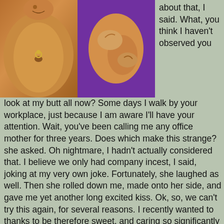[Figure (photo): Two photos: left shows a woman's midsection with belly button piercing; right shows hands touching skin against a purple background.]
about that, I said. What, you think I haven't observed you look at my butt all now? Some days I walk by your workplace, just because I am aware I'll have your attention. Wait, you've been calling me any office mother for three years. Does which make this strange? she asked. Oh nightmare, I hadn't actually considered that. I believe we only had company incest, I said, joking at my very own joke. Fortunately, she laughed as well. Then she rolled down me, made onto her side, and gave me yet another long excited kiss. Ok, so, we can't try this again, for several reasons. I recently wanted to thanks to be therefore sweet, and caring so significantly about me, but I do believe I might have let it get free from hand. I offer that was not my goal, she said. Kissing me extended and hard again. I believe you are definitely right, we definitely shouldn't do this again. To any extent further, we should truly get to at least one of our houses, or get an accommodation, I said with a laugh. You end it. I'm being significant, she laughed. Hitting me in the